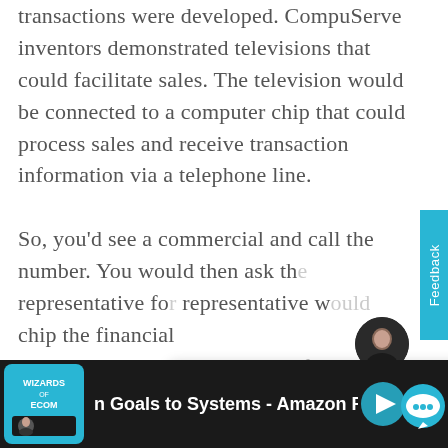transactions were developed. CompuServe inventors demonstrated televisions that could facilitate sales. The television would be connected to a computer chip that could process sales and receive transaction information via a telephone line.

So, you'd see a commercial and call the number. You would then ask th[e] representative fo[r the] representative wo[uld send to the] chip the financial [information and it] would relay a purchase to your financial
[Figure (screenshot): Chat popup overlay with avatar photo of a man in dark jacket, close button (×), and text: 'Got any Amazon/ecom questions? I'm happy to help.']
[Figure (screenshot): Blue vertical Feedback tab on the right side of the page]
[Figure (screenshot): Bottom bar with Wizards of Ecom podcast logo, text 'n Goals to Systems - Amazon PPC M', play button, and chat bubble icon]